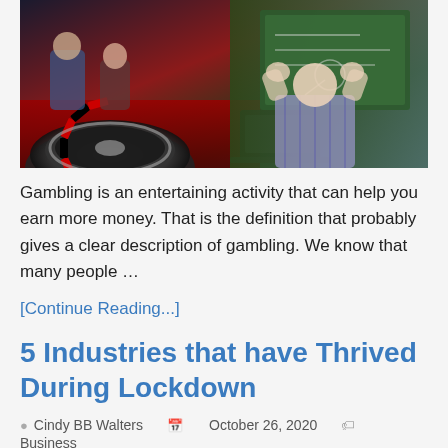[Figure (photo): Composite image: left side shows a roulette wheel and casino table with players, right side shows a person with hands on head in front of a chalkboard with a laptop]
Gambling is an entertaining activity that can help you earn more money. That is the definition that probably gives a clear description of gambling. We know that many people …
[Continue Reading...]
5 Industries that have Thrived During Lockdown
Cindy BB Walters   October 26, 2020   Business